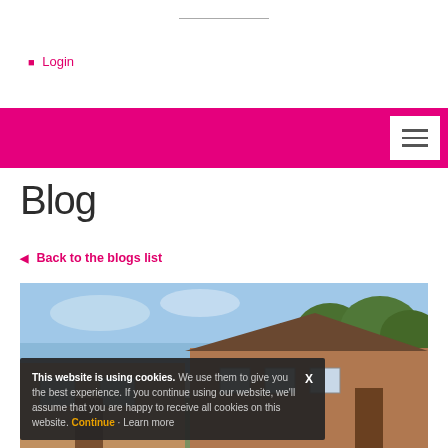Login
[Figure (screenshot): Pink navigation bar with white hamburger menu button on the right]
Blog
Back to the blogs list
[Figure (photo): Exterior photo of a brick house with trees in the background]
This website is using cookies. We use them to give you the best experience. If you continue using our website, we'll assume that you are happy to receive all cookies on this website. Continue · Learn more